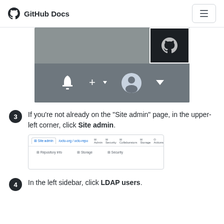GitHub Docs
[Figure (screenshot): Screenshot showing GitHub navigation bar with bell icon, plus icon with dropdown, and user avatar with dropdown arrow on a gray background]
If you're not already on the "Site admin" page, in the upper-left corner, click Site admin.
[Figure (screenshot): Screenshot of the Site admin page showing navigation tabs: Site admin link with octo-org/octo-repo breadcrumb, Admin, Security, Collaborators, Storage, Actions tabs, and below: Repository info, Storage, Security links]
In the left sidebar, click LDAP users.